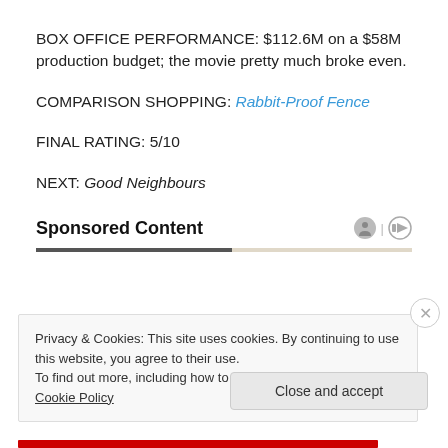BOX OFFICE PERFORMANCE: $112.6M on a $58M production budget; the movie pretty much broke even.
COMPARISON SHOPPING: Rabbit-Proof Fence
FINAL RATING: 5/10
NEXT: Good Neighbours
Sponsored Content
Privacy & Cookies: This site uses cookies. By continuing to use this website, you agree to their use.
To find out more, including how to control cookies, see here: Cookie Policy